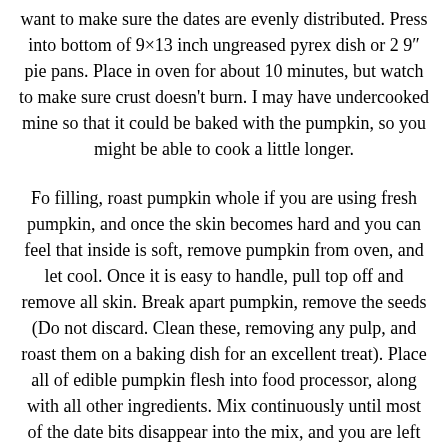want to make sure the dates are evenly distributed. Press into bottom of 9×13 inch ungreased pyrex dish or 2 9″ pie pans. Place in oven for about 10 minutes, but watch to make sure crust doesn't burn. I may have undercooked mine so that it could be baked with the pumpkin, so you might be able to cook a little longer.
Fo filling, roast pumpkin whole if you are using fresh pumpkin, and once the skin becomes hard and you can feel that inside is soft, remove pumpkin from oven, and let cool. Once it is easy to handle, pull top off and remove all skin. Break apart pumpkin, remove the seeds (Do not discard. Clean these, removing any pulp, and roast them on a baking dish for an excellent treat). Place all of edible pumpkin flesh into food processor, along with all other ingredients. Mix continuously until most of the date bits disappear into the mix, and you are left with a creamy pudding like consistency. When crust is ready, simply spoon or spatula over the crust, and bake an additional 30-40